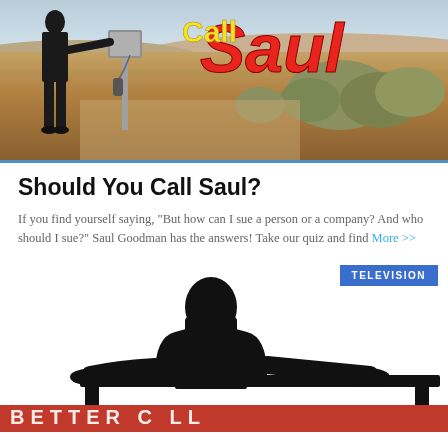[Figure (photo): Better Call Saul TV show promotional image: desert landscape background with a man in suit standing next to a payphone, large stylized 'Saul' text in red italic and 'Call' in yellow]
Should You Call Saul?
If you find yourself saying, "But how can I sue a person or a company? And who should I sue?" Saul Goodman has the answers! Take our quiz and find More >>
[Figure (photo): Better Call Saul silhouette logo: dark silhouette of a man in suit sitting at a desk, with partial red text below on dark background. TELEVISION badge in blue top right corner.]